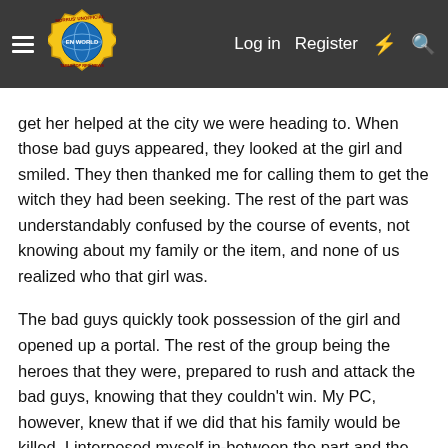Morrus' Unofficial Tabletop RPG News — Log in  Register
get her helped at the city we were heading to. When those bad guys appeared, they looked at the girl and smiled. They then thanked me for calling them to get the witch they had been seeking. The rest of the part was understandably confused by the course of events, not knowing about my family or the item, and none of us realized who that girl was.
The bad guys quickly took possession of the girl and opened up a portal. The rest of the group being the heroes that they were, prepared to rush and attack the bad guys, knowing that they couldn't win. My PC, however, knew that if we did that his family would be killed. I interposed myself in-between the part and the bad guys and let them know that the bad guys had my family and if they wanted to get to the bad guys, they were going to have to go through me first.
So at that point the encounter could have gone a few